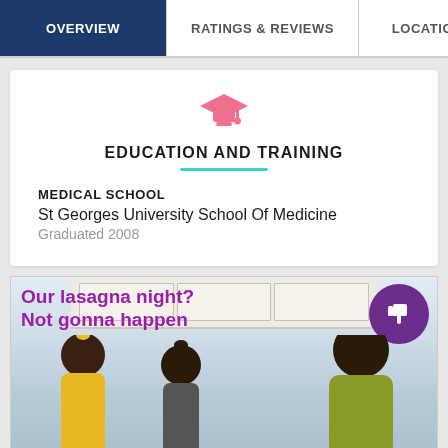OVERVIEW | RATINGS & REVIEWS | LOCATIONS | EX...
EDUCATION AND TRAINING
MEDICAL SCHOOL
St Georges University School Of Medicine
Graduated 2008
[Figure (photo): Advertisement showing a mother and two daughters in a kitchen with text 'Our lasagna night? Not gonna happen' and a purple thumbs-down icon]